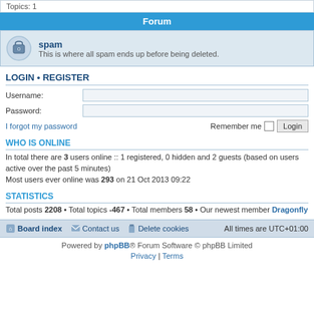Topics: 1
Forum
spam
This is where all spam ends up before being deleted.
LOGIN • REGISTER
Username:
Password:
I forgot my password    Remember me  Login
WHO IS ONLINE
In total there are 3 users online :: 1 registered, 0 hidden and 2 guests (based on users active over the past 5 minutes)
Most users ever online was 293 on 21 Oct 2013 09:22
STATISTICS
Total posts 2208 • Total topics -467 • Total members 58 • Our newest member Dragonfly
Board index   Contact us   Delete cookies   All times are UTC+01:00
Powered by phpBB® Forum Software © phpBB Limited
Privacy | Terms